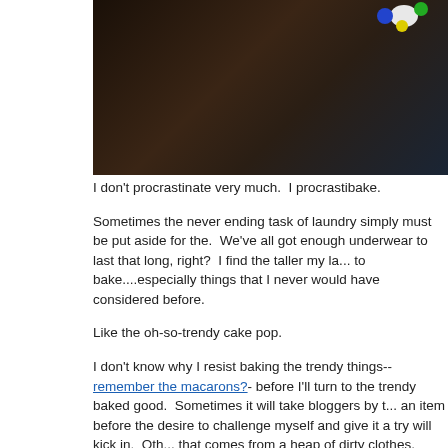[Figure (photo): Partial photo of a white object with colorful balls (blue, green, yellow) on a dark wooden surface background]
I don't procrastinate very much.  I procrastibake.
Sometimes the never ending task of laundry simply must be put aside for the.  We've all got enough underwear to last that long, right?  I find the taller my la... to bake....especially things that I never would have considered before.
Like the oh-so-trendy cake pop.
I don't know why I resist baking the trendy things--remember the macarons?- before I'll turn to the trendy baked good.  Sometimes it will take bloggers by t... an item before the desire to challenge myself and give it a try will kick in.  Oth... that comes from a heap of dirty clothes.
Yesterday, when I contemplated doing the laundry I decided bread for sandw... baked that instead.  Then, I made some cookies, and popped some popcorn... experimenting with a recipe I'm working on and baked the first attempt.  I con... two loaves of fresh baked bread on the countertop advised me against that.  something-anything!-I could bake in lieu of doing laundry and pretty soon a m...
Cake pops.  Maia asked me a few weeks ago if we could try making them.  P... the kitchen and ran out to find the necessary supplies.  We baked the cake la... put them in the freezer overnight.  This afternoon, we dipped and decorated t...